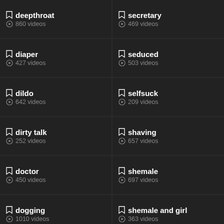deepthroat · 860 videos
secretary · 469 videos
diaper · 427 videos
seduced · 503 videos
dildo · 642 videos
selfsuck · 209 videos
dirty talk · 252 videos
shaving · 657 videos
doctor · 450 videos
shemale · 697 videos
dogging · 1010 videos
shemale and girl · 363 videos
domination
shoejob